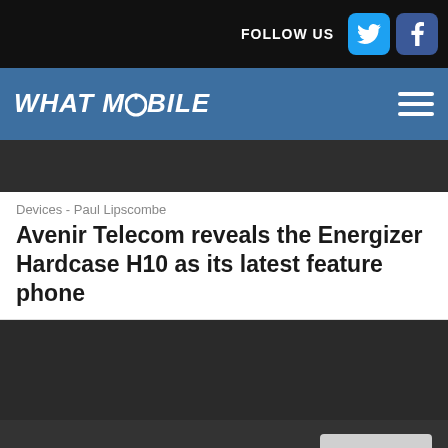FOLLOW US
WHAT MOBILE
[Figure (screenshot): Dark placeholder banner/advertisement area]
Devices - Paul Lipscombe
Avenir Telecom reveals the Energizer Hardcase H10 as its latest feature phone
[Figure (photo): Dark article image placeholder]
We use cookies to study how our website is being used. By continuing to browse the site you are agreeing to our use of cookies.